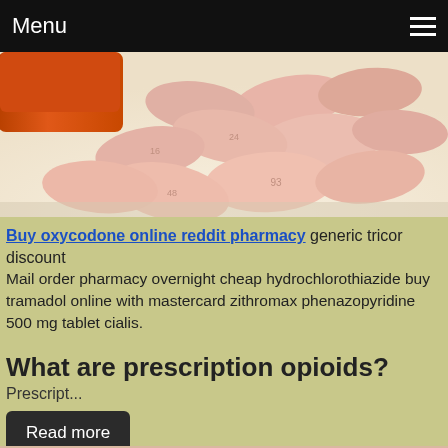Menu
[Figure (photo): Photo of pink oval pills spilling out of an orange prescription bottle on a light background]
Buy oxycodone online reddit pharmacy generic tricor discount
Mail order pharmacy overnight cheap hydrochlorothiazide buy tramadol online with mastercard zithromax phenazopyridine 500 mg tablet cialis.
What are prescription opioids?
Prescript...
Read more